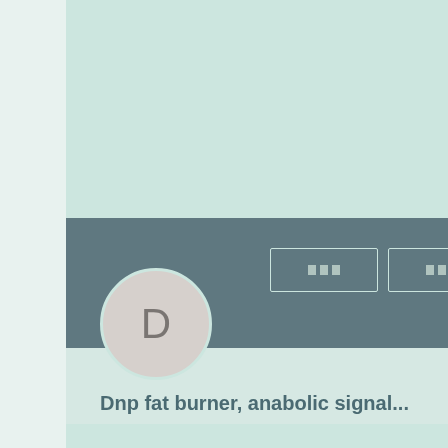[Figure (screenshot): Social media profile page screenshot showing a user profile with avatar letter D, two outline buttons with placeholder text, a three-dot menu, profile name 'Dnp fat burner, anabolic signal...' and stats showing '0 xxx • 0 xxx']
Dnp fat burner, anabolic signal...
0 xxx • 0 xxx